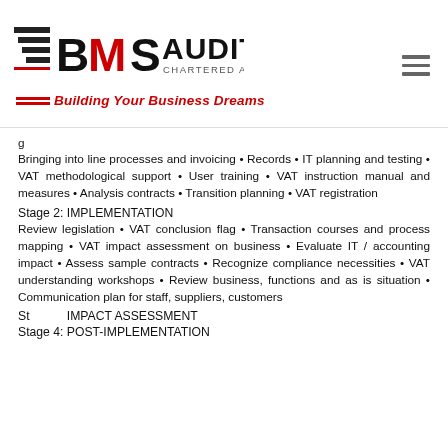BMS AUDITING CHARTERED ACCOUNTANTS — Building Your Business Dreams
Bringing into line processes and invoicing • Records • IT planning and testing • VAT methodological support • User training • VAT instruction manual and measures • Analysis contracts • Transition planning • VAT registration
Stage 2: IMPLEMENTATION
Review legislation • VAT conclusion flag • Transaction courses and process mapping • VAT impact assessment on business • Evaluate IT / accounting impact • Assess sample contracts • Recognize compliance necessities • VAT understanding workshops • Review business, functions and as is situation • Communication plan for staff, suppliers, customers
Stage 3: IMPACT ASSESSMENT
Stage 4: POST-IMPLEMENTATION